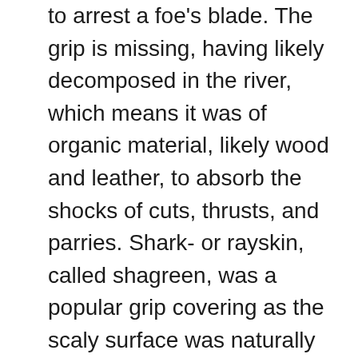to arrest a foe's blade. The grip is missing, having likely decomposed in the river, which means it was of organic material, likely wood and leather, to absorb the shocks of cuts, thrusts, and parries. Shark- or rayskin, called shagreen, was a popular grip covering as the scaly surface was naturally nonslip. Even the inscription is in keeping with its warlike purpose; the invocation is meant to gain the favor of God and inspire valor in battle. It is now my conjecture that this sword was created upon the declaration of William's kingship of Hainault, perhaps Jean's gift to his brother in-law. It also makes sense as the last title presented in the inscription with the purpose of going to war with the Dampierres, which is exactly what occurred. Willem seems to have declared his kingship over Hainault in 1249, while his title Duke